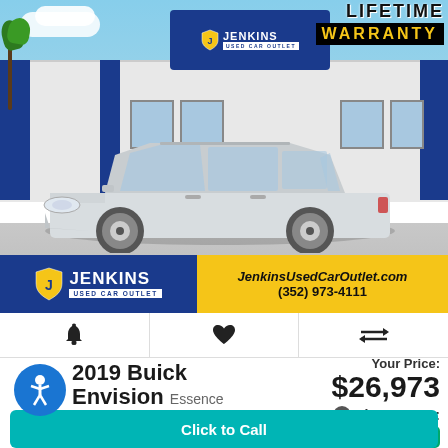[Figure (photo): Silver 2019 Buick Envision Essence SUV parked in front of Jenkins Used Car Outlet dealership. A 'Lifetime Warranty' banner appears in the top right corner of the image. The Jenkins Used Car Outlet logo and contact info JenkinsUsedCarOutlet.com (352) 973-4111 appear in a banner below the photo.]
LIFETIME WARRANTY
JenkinsUsedCarOutlet.com
(352) 973-4111
2019 Buick Envision Essence
Your Price: $26,973
Finance For: $327/mo